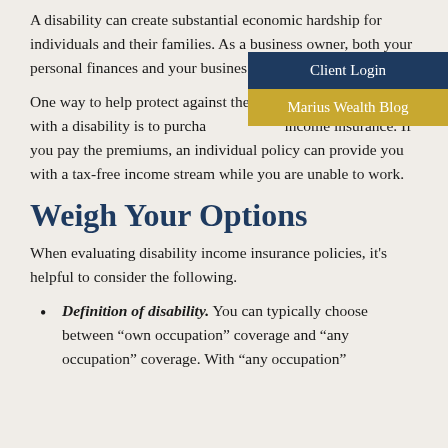A disability can create substantial economic hardship for individuals and their families. As a business owner, both your personal finances and your business
Client Login
Marius Wealth Blog
One way to help protect against the financial risks associated with a disability is to purchase disability income insurance. If you pay the premiums, an individual policy can provide you with a tax-free income stream while you are unable to work.
Weigh Your Options
When evaluating disability income insurance policies, it’s helpful to consider the following.
Definition of disability. You can typically choose between “own occupation” coverage and “any occupation” coverage. With “any occupation”